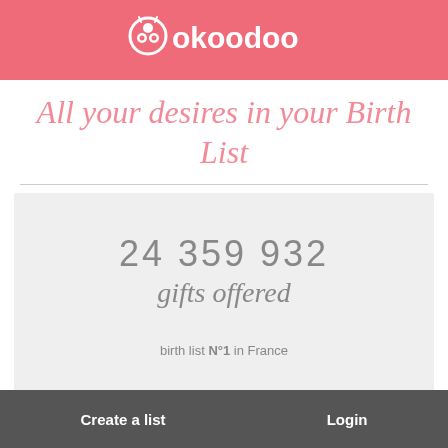okoodoo
All your desires in your Birth List
24 359 932
gifts offered
birth list N°1 in France
Create a list   Login